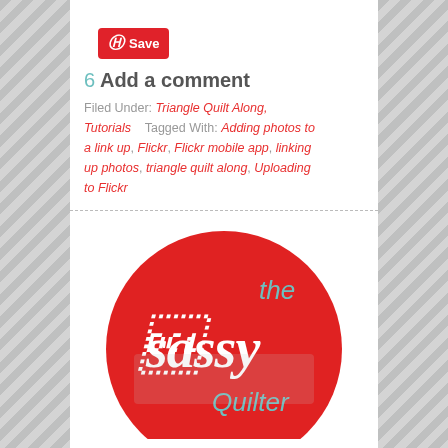[Figure (logo): Pinterest Save button — red rounded rectangle with Pinterest P icon and 'Save' text in white]
6 Add a comment
Filed Under: Triangle Quilt Along, Tutorials   Tagged With: Adding photos to a link up, Flickr, Flickr mobile app, linking up photos, triangle quilt along, Uploading to Flickr
[Figure (logo): The Sassy Quilter logo — large red circle with white cursive 'sassy' text and teal 'the' and 'Quilter' text]